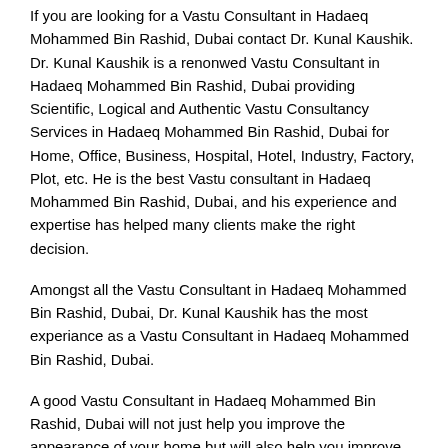If you are looking for a Vastu Consultant in Hadaeq Mohammed Bin Rashid, Dubai contact Dr. Kunal Kaushik. Dr. Kunal Kaushik is a renonwed Vastu Consultant in Hadaeq Mohammed Bin Rashid, Dubai providing Scientific, Logical and Authentic Vastu Consultancy Services in Hadaeq Mohammed Bin Rashid, Dubai for Home, Office, Business, Hospital, Hotel, Industry, Factory, Plot, etc. He is the best Vastu consultant in Hadaeq Mohammed Bin Rashid, Dubai, and his experience and expertise has helped many clients make the right decision.
Amongst all the Vastu Consultant in Hadaeq Mohammed Bin Rashid, Dubai, Dr. Kunal Kaushik has the most experiance as a Vastu Consultant in Hadaeq Mohammed Bin Rashid, Dubai.
A good Vastu Consultant in Hadaeq Mohammed Bin Rashid, Dubai will not just help you improve the appearance of your home but will also help you improve your quality of life.
Of All the Vastu Consultant in Hadaeq Mohammed Bin Rashid, Dubai, Dr. Kunal Kaushik is the only Vastu Consultant in Hadaeq Mohammed Bin Rashid, Dubai who uses...